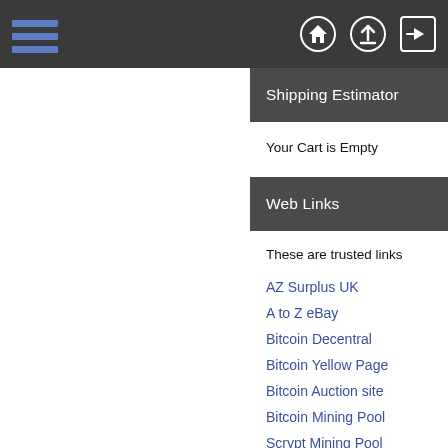Navigation bar with hamburger menu and icons (home, upload, login)
Shipping Estimator
Your Cart is Empty
Web Links
These are trusted links
AZ Surplus UK
A to Z eBay
Bitcoin Decentral
Bitcoin Yellow Page
Bitcoin Auction site
Bitcoin Mining Pool
Scrypt Mining Pool
bitcoin talk Forum
Meetup bitcoin